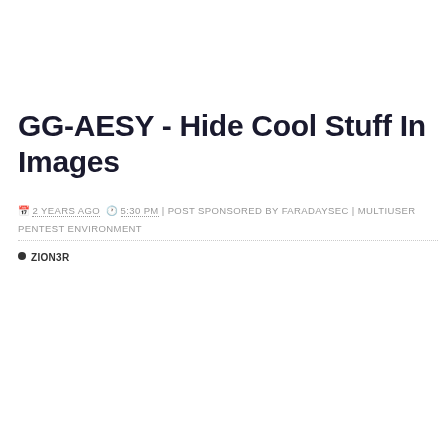GG-AESY - Hide Cool Stuff In Images
2 YEARS AGO  5:30 PM | POST SPONSORED BY FARADAYSEC | MULTIUSER PENTEST ENVIRONMENT
ZION3R